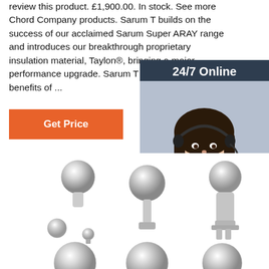review this product. £1,900.00. In stock. See more Chord Company products. Sarum T builds on the success of our acclaimed Sarum Super ARAY range and introduces our breakthrough proprietary insulation material, Taylon®, bringing a major performance upgrade. Sarum T brings the remarkable benefits of ...
[Figure (screenshot): Orange 'Get Price' button]
[Figure (infographic): 24/7 Online chat widget with female customer service representative wearing headset, dark navy background, 'Click here for free chat!' text and orange QUOTATION button]
[Figure (photo): Three rows of chrome/silver ball-shaped connector or hitch ball products on white background]